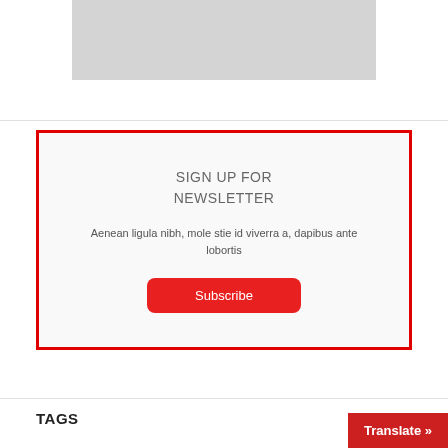[Figure (other): Gray placeholder image box at the top of the page]
SIGN UP FOR NEWSLETTER
Aenean ligula nibh, mole stie id viverra a, dapibus ante lobortis
Subscribe
TAGS
Translate »